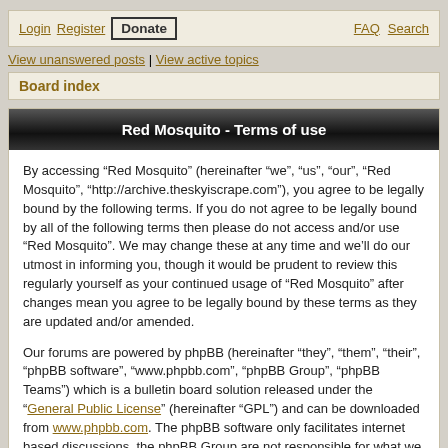Login  Register  Donate  FAQ  Search
View unanswered posts | View active topics
Board index
Red Mosquito - Terms of use
By accessing “Red Mosquito” (hereinafter “we”, “us”, “our”, “Red Mosquito”, “http://archive.theskyiscrape.com”), you agree to be legally bound by the following terms. If you do not agree to be legally bound by all of the following terms then please do not access and/or use “Red Mosquito”. We may change these at any time and we’ll do our utmost in informing you, though it would be prudent to review this regularly yourself as your continued usage of “Red Mosquito” after changes mean you agree to be legally bound by these terms as they are updated and/or amended.
Our forums are powered by phpBB (hereinafter “they”, “them”, “their”, “phpBB software”, “www.phpbb.com”, “phpBB Group”, “phpBB Teams”) which is a bulletin board solution released under the “General Public License” (hereinafter “GPL”) and can be downloaded from www.phpbb.com. The phpBB software only facilitates internet based discussions, the phpBB Group are not responsible for what we allow and/or disallow as permissible content and/or conduct. For further information about phpBB, please see: http://www.phpbb.com/.
You agree not to post any abusive, obscene, vulgar, slanderous, hateful, threatening, sexually-orientated or any other material that may violate any laws be it of your country, the country where “Red